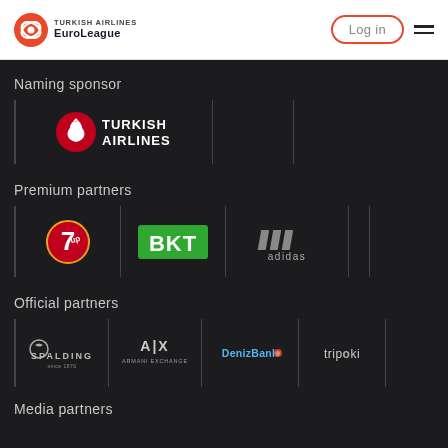[Figure (logo): Turkish Airlines EuroLeague logo in header]
Log in
Naming sponsor
[Figure (logo): Turkish Airlines logo (red tulip icon with TURKISH AIRLINES text in white)]
Premium partners
[Figure (logo): 7UP logo (red circle with 7 and stylized design)]
[Figure (logo): BKT logo (green background with bold white BKT text)]
[Figure (logo): Adidas logo (three stripes with adidas text)]
Official partners
[Figure (logo): Spalding logo in white text on dark background]
[Figure (logo): Armani Exchange A|X logo in white on dark]
[Figure (logo): DenizBank logo in blue text]
[Figure (logo): Tripoki logo in white text]
Media partners